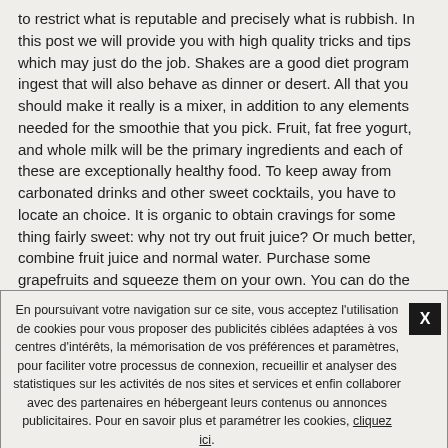to restrict what is reputable and precisely what is rubbish. In this post we will provide you with high quality tricks and tips which may just do the job. Shakes are a good diet program ingest that will also behave as dinner or desert. All that you should make it really is a mixer, in addition to any elements needed for the smoothie that you pick. Fruit, fat free yogurt, and whole milk will be the primary ingredients and each of these are exceptionally healthy food. To keep away from carbonated drinks and other sweet cocktails, you have to locate an choice. It is organic to obtain cravings for some thing fairly sweet: why not try out fruit juice? Or much better, combine fruit juice and normal water. Purchase some grapefruits and squeeze them on your own. You can do the identical with plenty of fruits, and blend various sort of drinks for flavour. Try out being a veggie a minumum of one day time a week. A vegan is some ways more healthy than as a various meats eater. Even when you are not all set to create a hop to accomplish vegetarianism, you will get some of the great things about a veggie diet program if
En poursuivant votre navigation sur ce site, vous acceptez l'utilisation de cookies pour vous proposer des publicités ciblées adaptées à vos centres d'intérêts, la mémorisation de vos préférences et paramètres, pour faciliter votre processus de connexion, recueillir et analyser des statistiques sur les activités de nos sites et services et enfin collaborer avec des partenaires en hébergeant leurs contenus ou annonces publicitaires. Pour en savoir plus et paramétrer les cookies, cliquez ici.